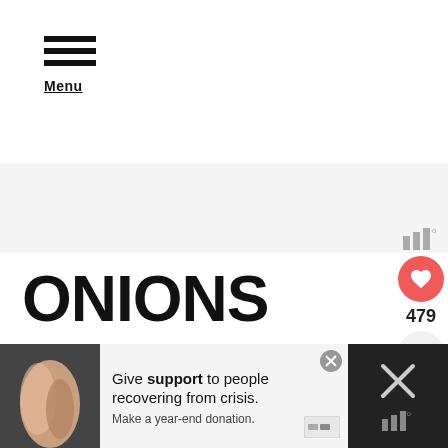[Figure (screenshot): Hamburger menu icon with three horizontal bars and 'Menu' label below]
[Figure (screenshot): Light gray advertisement banner placeholder]
ONIONS
[Figure (infographic): Social panel with meter icon, red heart like button, 479 like count, and share button]
[Figure (photo): Thumbnail image of shallots with 'WHAT'S NEXT' label and 'How to Grow Shallots' text]
[Figure (screenshot): Bottom advertisement bar with photo of holding hands, 'Give support to people recovering from crisis. Make a year-end donation.' text, close X button, and right side with X icon and meter icon on dark background]